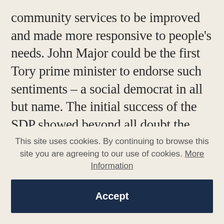community services to be improved and made more responsive to people's needs. John Major could be the first Tory prime minister to endorse such sentiments – a social democrat in all but name. The initial success of the SDP showed beyond all doubt the appeal of a party which preferred a market economy to collectivism, but was strongly committed to the Welfare State and the liberty of the individual. The Liberal Democrats may yet be able to turn this appeal into potential strength. But in any case the Gang of
This site uses cookies. By continuing to browse this site you are agreeing to our use of cookies. More Information
Accept